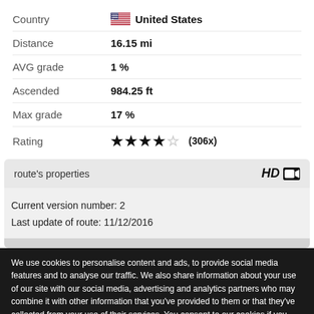Country: United States
Distance: 16.15 mi
AVG grade: 1 %
Ascended: 984.25 ft
Max grade: 17 %
Rating: ★★★★☆ (306x)
route's properties
Current version number: 2
Last update of route: 11/12/2016
We use cookies to personalise content and ads, to provide social media features and to analyse our traffic. We also share information about your use of our site with our social media, advertising and analytics partners who may combine it with other information that you've provided to them or that they've collected from your use of their services. You consent to our cookies if you continue to use our website.
Settings ▼
Allow all cookies